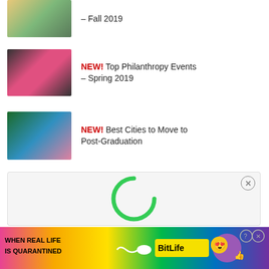– Fall 2019
NEW! Top Philanthropy Events – Spring 2019
NEW! Best Cities to Move to Post-Graduation
NEW! Top 10 Most Famous Sororities And Fraternities
[Figure (infographic): Advertisement overlay with green circular loading icon and close button]
[Figure (infographic): BitLife advertisement banner with rainbow gradient background, text WHEN REAL LIFE IS QUARANTINED, BitLife logo with emoji character]